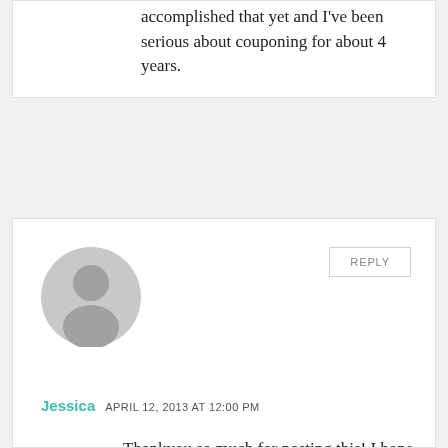accomplished that yet and I've been serious about couponing for about 4 years.
[Figure (illustration): Default user avatar — grey circle with silhouette of a person]
REPLY
Jessica  APRIL 12, 2013 AT 12:00 PM
Thankyou so much for posting this! I hope other people read it and take away from it, especially #8. I get frustrated when I go out on sunday to do the couponing deals and the shelves are already cleared and I see someone with a